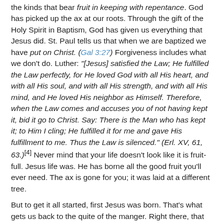the kinds that bear fruit in keeping with repentance. God has picked up the ax at our roots. Through the gift of the Holy Spirit in Baptism, God has given us everything that Jesus did. St. Paul tells us that when we are baptized we have put on Christ. (Gal 3:27) Forgiveness includes what we don't do. Luther: "[Jesus] satisfied the Law; He fulfilled the Law perfectly, for He loved God with all His heart, and with all His soul, and with all His strength, and with all His mind, and He loved His neighbor as Himself. Therefore, when the Law comes and accuses you of not having kept it, bid it go to Christ. Say: There is the Man who has kept it; to Him I cling; He fulfilled it for me and gave His fulfillment to me. Thus the Law is silenced." (Erl. XV, 61, 63.)[4] Never mind that your life doesn't look like it is fruit-full. Jesus life was. He has borne all the good fruit you'll ever need. The ax is gone for you; it was laid at a different tree.
But to get it all started, first Jesus was born. That's what gets us back to the quite of the manger. Right there, that stable that we'll all gaze into with wonder[5] in a few weeks, is the "different tree." It's utterly amazing, totally beyond our thinking and acting, to believe that anyone would be born...